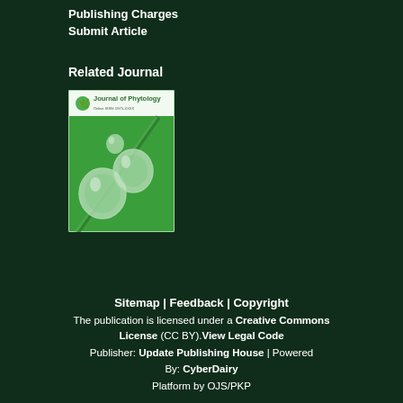Publishing Charges
Submit Article
Related Journal
[Figure (illustration): Journal of Phytology magazine cover showing water droplets on a green leaf with the journal title at top]
Sitemap | Feedback | Copyright
The publication is licensed under a Creative Commons License (CC BY).View Legal Code
Publisher: Update Publishing House | Powered By: CyberDairy
Platform by OJS/PKP